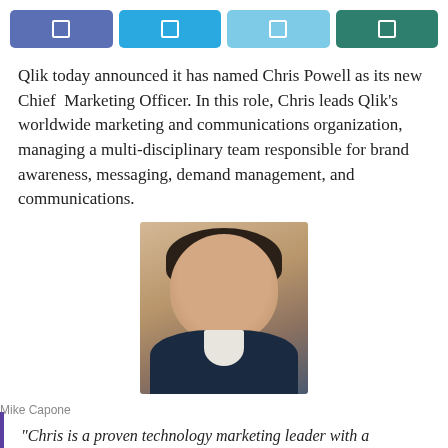[Figure (other): Social media share buttons: Facebook (purple), Twitter (blue), LinkedIn (light blue), Google+ (teal)]
Qlik today announced it has named Chris Powell as its new Chief Marketing Officer. In this role, Chris leads Qlik's worldwide marketing and communications organization, managing a multi-disciplinary team responsible for brand awareness, messaging, demand management, and communications.
[Figure (photo): Headshot photo of Mike Capone, a man in a dark suit with a smile]
Mike Capone
“Chris is a proven technology marketing leader with a